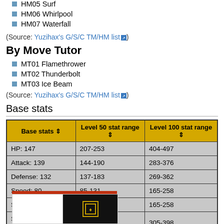HM05 Surf
HM06 Whirlpool
HM07 Waterfall
(Source: Yuzihax's G/S/C TM/HM list)
By Move Tutor
MT01 Flamethrower
MT02 Thunderbolt
MT03 Ice Beam
(Source: Yuzihax's G/S/C TM/HM list)
Base stats
| Base stats ⇕ | Level 50 stat range ⇕ | Level 100 stat range ⇕ |
| --- | --- | --- |
| HP: 147 | 207-253 | 404-497 |
| Attack: 139 | 144-190 | 283-376 |
| Defense: 132 | 137-183 | 269-362 |
| Speed: 80 | 85-131 | 165-258 |
| Special Attack: 80 | 85-131 | 165-258 |
| Special Defense: 150 | 155-201 | 305-398 |
[Figure (screenshot): Bottom portion of a game interface showing a white panel on the left and a dark panel on the right with a gold icon]